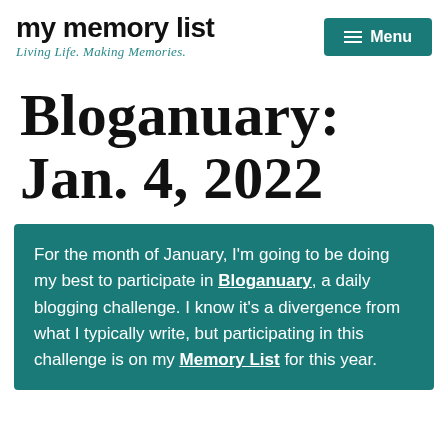my memory list — Living Life. Making Memories. | Menu
Bloganuary: Jan. 4, 2022
For the month of January, I'm going to be doing my best to participate in Bloganuary, a daily blogging challenge. I know it's a divergence from what I typically write, but participating in this challenge is on my Memory List for this year.